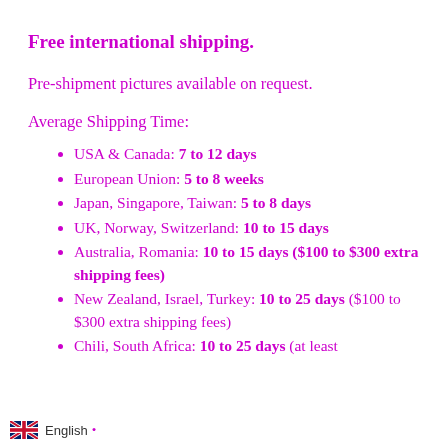Free international shipping.
Pre-shipment pictures available on request.
Average Shipping Time:
USA & Canada: 7 to 12 days
European Union: 5 to 8 weeks
Japan, Singapore, Taiwan: 5 to 8 days
UK, Norway, Switzerland: 10 to 15 days
Australia, Romania: 10 to 15 days ($100 to $300 extra shipping fees)
New Zealand, Israel, Turkey: 10 to 25 days ($100 to $300 extra shipping fees)
Chili, South Africa: 10 to 25 days (at least $300 extra shipping fees)
English